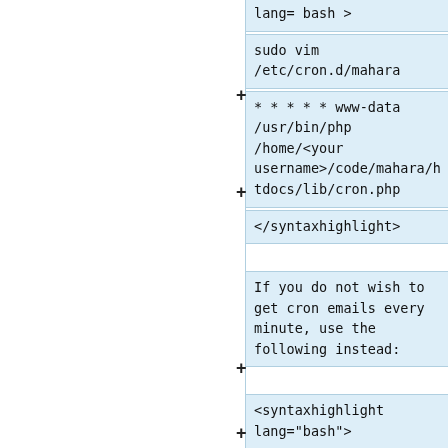lang= bash >
sudo vim /etc/cron.d/mahara
* * * * * www-data /usr/bin/php /home/<your username>/code/mahara/htdocs/lib/cron.php
</syntaxhighlight>
If you do not wish to get cron emails every minute, use the following instead:
<syntaxhighlight lang="bash">
sudo vim